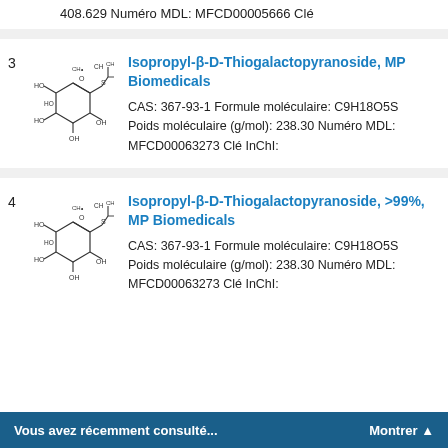408.629 Numéro MDL: MFCD00005666 Clé
[Figure (illustration): Chemical structure of Isopropyl-β-D-Thiogalactopyranoside (entry 3)]
Isopropyl-β-D-Thiogalactopyranoside, MP Biomedicals
CAS: 367-93-1 Formule moléculaire: C9H18O5S
Poids moléculaire (g/mol): 238.30 Numéro MDL: MFCD00063273 Clé InChI:
[Figure (illustration): Chemical structure of Isopropyl-β-D-Thiogalactopyranoside (entry 4)]
Isopropyl-β-D-Thiogalactopyranoside, >99%, MP Biomedicals
CAS: 367-93-1 Formule moléculaire: C9H18O5S
Poids moléculaire (g/mol): 238.30 Numéro MDL: MFCD00063273 Clé InChI:
Vous avez récemment consulté...   Montrer ▲